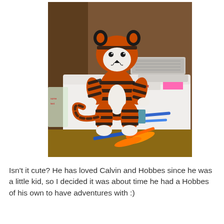[Figure (photo): A crocheted Hobbes stuffed animal (from Calvin and Hobbes) sitting on a white Singer sewing machine. The plush toy is orange and black striped with a white belly and white paws. Orange scissors and blue pens are visible in the foreground. Wooden furniture and craft materials are in the background.]
Isn't it cute? He has loved Calvin and Hobbes since he was a little kid, so I decided it was about time he had a Hobbes of his own to have adventures with :)